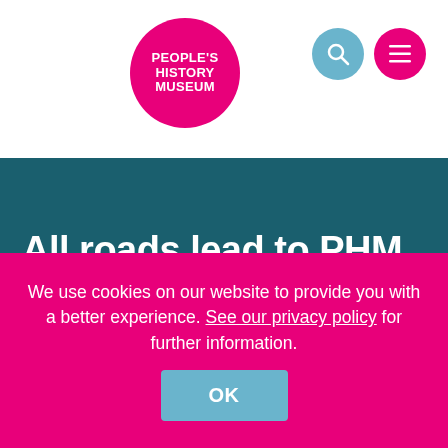People's History Museum
All roads lead to PHM
29 May 2021
[Figure (illustration): Partial view of a bicycle illustration in black line art]
We use cookies on our website to provide you with a better experience. See our privacy policy for further information.